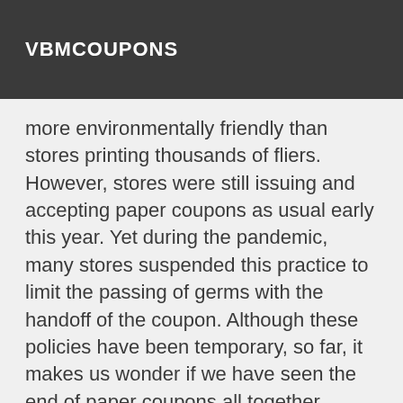VBMCOUPONS
more environmentally friendly than stores printing thousands of fliers. However, stores were still issuing and accepting paper coupons as usual early this year. Yet during the pandemic, many stores suspended this practice to limit the passing of germs with the handoff of the coupon. Although these policies have been temporary, so far, it makes us wonder if we have seen the end of paper coupons all together.